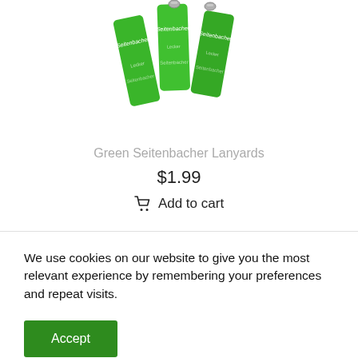[Figure (photo): Green Seitenbacher branded lanyards with metal clasps, folded, showing the brand name repeated on the strap]
Green Seitenbacher Lanyards
$1.99
Add to cart
We use cookies on our website to give you the most relevant experience by remembering your preferences and repeat visits.
Accept